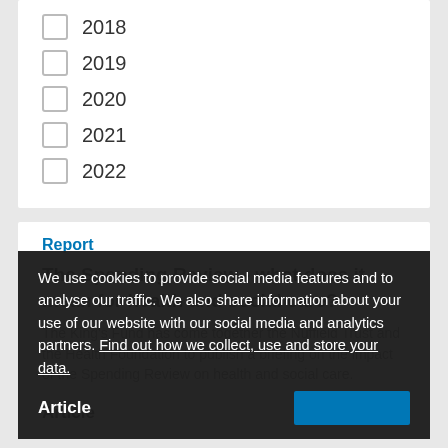2018
2019
2020
2021
2022
Report
The Spending Review - what does it mean for health and social care?
The King's Fund has come together the Nuffield Trust and the Health Foundation to publish a briefing on the impact of the Spending Review on health and social care.
We use cookies to provide social media features and to analyse our traffic. We also share information about your use of our website with our social media and analytics partners. Find out how we collect, use and store your data.
Article